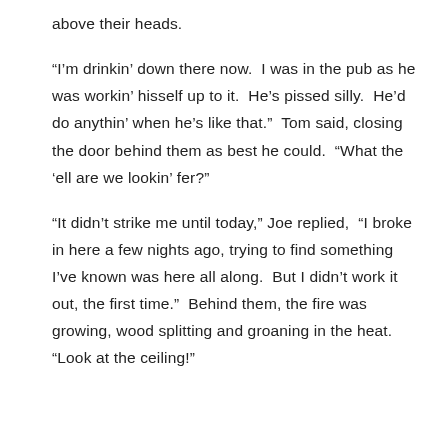above their heads.
“I’m drinkin’ down there now.  I was in the pub as he was workin’ hisself up to it.  He’s pissed silly.  He’d do anythin’ when he’s like that.”  Tom said, closing the door behind them as best he could.  “What the ‘ell are we lookin’ fer?”
“It didn’t strike me until today,” Joe replied,  “I broke in here a few nights ago, trying to find something I’ve known was here all along.  But I didn’t work it out, the first time.”  Behind them, the fire was growing, wood splitting and groaning in the heat.  “Look at the ceiling!”